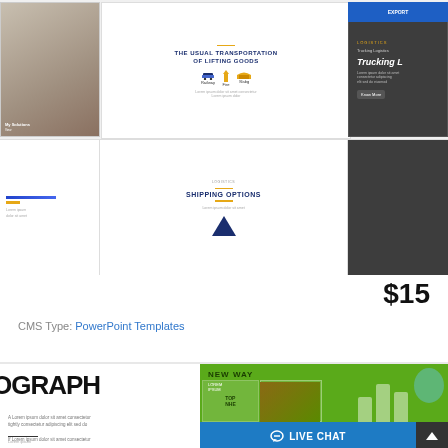[Figure (screenshot): Grid of PowerPoint template slide thumbnails showing trucking/logistics theme. Top slide shows 'THE USUAL TRANSPORTATION OF LIFTING GOODS' with icons. Dark slide shows 'Trucking L...' text in white italic on dark background. Bottom row includes 'SHIPPING OPTIONS' slide.]
$15
CMS Type: PowerPoint Templates
[Figure (screenshot): Second product listing partially visible at bottom: left side shows 'OGRAPH' large black text on white, right side shows green slide with 'NEW WAY' header and bar chart elements. Live Chat button visible at bottom right.]